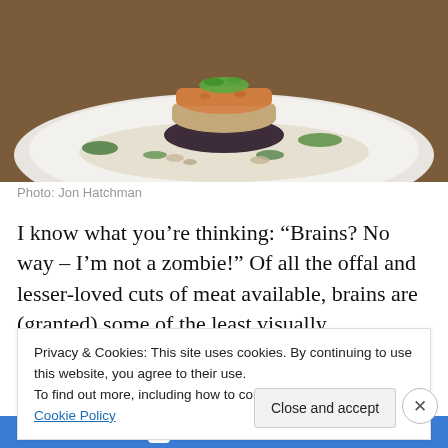[Figure (photo): Food photo showing a stacked fried meat dish on a white plate with green herbs and sauce, photographed from above at an angle on a wooden surface.]
Photo: Jon Hatchman
I know what you’re thinking: “Brains? No way – I’m not a zombie!” Of all the offal and lesser-loved cuts of meat available, brains are (granted) some of the least visually
Privacy & Cookies: This site uses cookies. By continuing to use this website, you agree to their use.
To find out more, including how to control cookies, see here: Cookie Policy
Close and accept
app you’ll ever need.